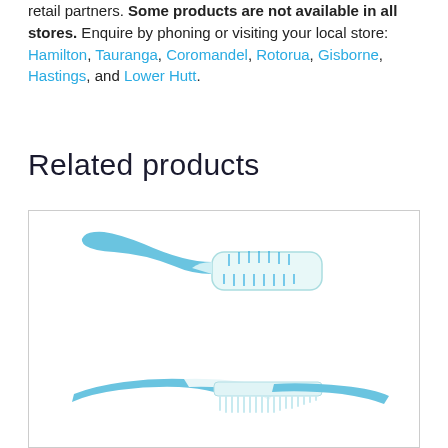retail partners. Some products are not available in all stores. Enquire by phoning or visiting your local store: Hamilton, Tauranga, Coromandel, Rotorua, Gisborne, Hastings, and Lower Hutt.
Related products
[Figure (photo): A blue and white hairbrush and a white and blue comb, positioned diagonally overlapping each other on a white background.]